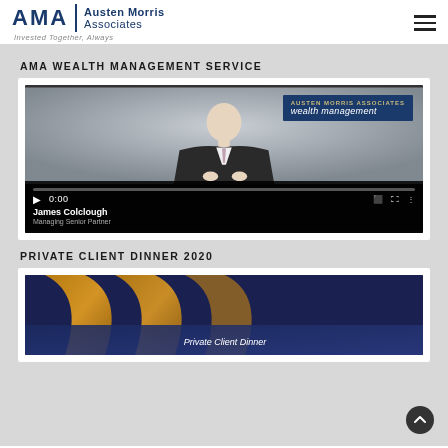AMA | Austen Morris Associates — Invested Together, Always
AMA WEALTH MANAGEMENT SERVICE
[Figure (screenshot): Video thumbnail showing James Colclough, Managing Senior Partner, presenting in front of Austen Morris Associates Wealth Management branding. Video controls show 0:00 timestamp.]
PRIVATE CLIENT DINNER 2020
[Figure (photo): Partial image of Private Client Dinner event showing curved architectural elements in gold and blue tones with 'Private Client Dinner' text overlay.]